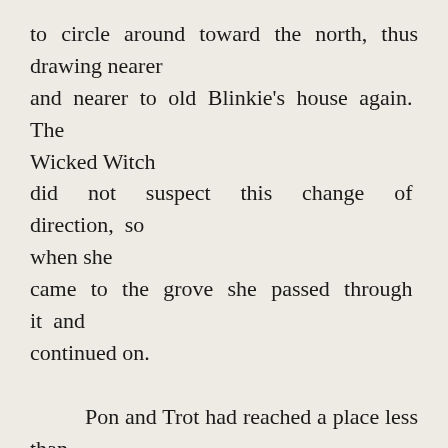to circle around toward the north, thus drawing nearer and nearer to old Blinkie's house again. The Wicked Witch did not suspect this change of direction, so when she came to the grove she passed through it and continued on.

      Pon and Trot had reached a place less than half a mile from the witch's house when they saw Gloria walking